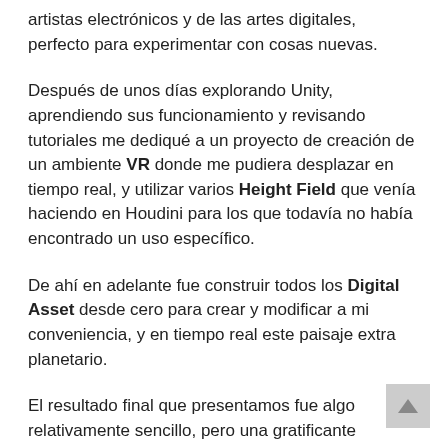artistas electrónicos y de las artes digitales, perfecto para experimentar con cosas nuevas.
Después de unos días explorando Unity, aprendiendo sus funcionamiento y revisando tutoriales me dediqué a un proyecto de creación de un ambiente VR donde me pudiera desplazar en tiempo real, y utilizar varios Height Field que venía haciendo en Houdini para los que todavía no había encontrado un uso específico.
De ahí en adelante fue construir todos los Digital Asset desde cero para crear y modificar a mi conveniencia, y en tiempo real este paisaje extra planetario.
El resultado final que presentamos fue algo relativamente sencillo, pero una gratificante sorpresa. Yo venía acostumbrado al lento y laborioso trabajo de crear altamente elaborados y complejos